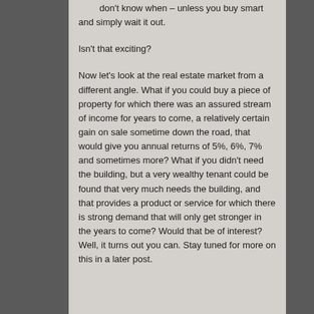don't know when – unless you buy smart and simply wait it out.
Isn't that exciting?
Now let's look at the real estate market from a different angle. What if you could buy a piece of property for which there was an assured stream of income for years to come, a relatively certain gain on sale sometime down the road, that would give you annual returns of 5%, 6%, 7% and sometimes more? What if you didn't need the building, but a very wealthy tenant could be found that very much needs the building, and that provides a product or service for which there is strong demand that will only get stronger in the years to come? Would that be of interest? Well, it turns out you can. Stay tuned for more on this in a later post.